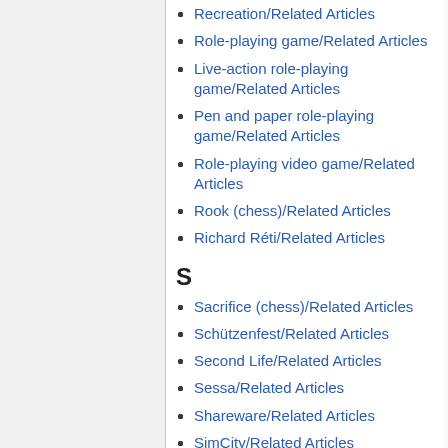Recreation/Related Articles
Role-playing game/Related Articles
Live-action role-playing game/Related Articles
Pen and paper role-playing game/Related Articles
Role-playing video game/Related Articles
Rook (chess)/Related Articles
Richard Réti/Related Articles
S
Sacrifice (chess)/Related Articles
Schützenfest/Related Articles
Second Life/Related Articles
Sessa/Related Articles
Shareware/Related Articles
SimCity/Related Articles
SimTower/Related Articles